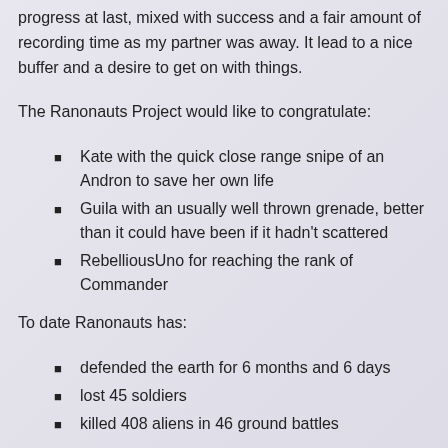progress at last, mixed with success and a fair amount of recording time as my partner was away. It lead to a nice buffer and a desire to get on with things.
The Ranonauts Project would like to congratulate:
Kate with the quick close range snipe of an Andron to save her own life
Guila with an usually well thrown grenade, better than it could have been if it hadn't scattered
RebelliousUno for reaching the rank of Commander
To date Ranonauts has:
defended the earth for 6 months and 6 days
lost 45 soldiers
killed 408 aliens in 46 ground battles